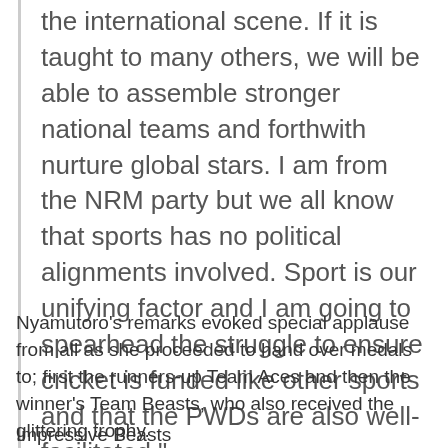the international scene. If it is taught to many others, we will be able to assemble stronger national teams and forthwith nurture global stars. I am from the NRM party but we all know that sports has no political alignments involved. Sport is our unifying factor and I am going to spearhead the struggle to ensure cricket is funded like other sports and that the PWDs are also well-facilitated."
Nyamutoro's remarks evoked special applause from all as she proceeded to hand over medals to; first the runners-up Team Aces and then the winner's Team Beasts, who also received the glittering trophy.
Impressive Beasts